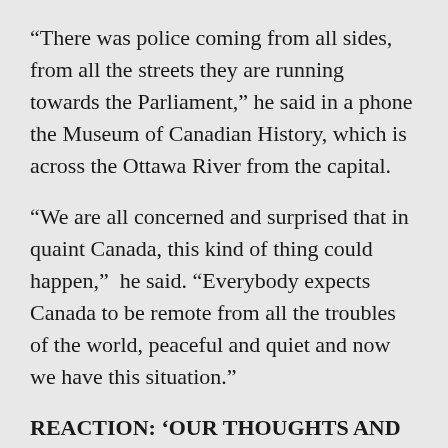“There was police coming from all sides, from all the streets they are running towards the Parliament,” he said in a phone the Museum of Canadian History, which is across the Ottawa River from the capital.
“We are all concerned and surprised that in quaint Canada, this kind of thing could happen,”  he said. “Everybody expects Canada to be remote from all the troubles of the world, peaceful and quiet and now we have this situation.”
REACTION: ‘OUR THOUGHTS AND PRAYERS ARE WITH THOSE INJURED’
Mr. Ho...